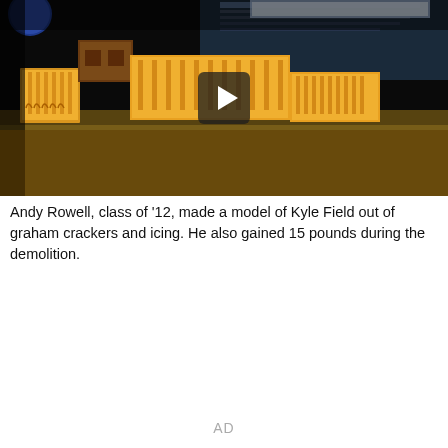[Figure (photo): A photo/video thumbnail showing a model of Kyle Field stadium made from graham crackers and icing, with a play button overlay. The model shows the stadium structure in orange/tan tones on a table, with the actual stadium visible in the background under lights.]
Andy Rowell, class of '12, made a model of Kyle Field out of graham crackers and icing. He also gained 15 pounds during the demolition.
AD